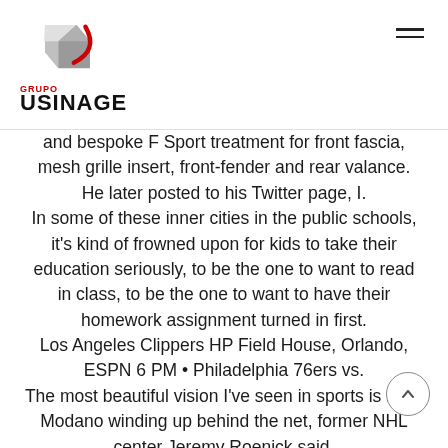GRUPO USINAGE
and bespoke F Sport treatment for front fascia, mesh grille insert, front-fender and rear valance. He later posted to his Twitter page, I. In some of these inner cities in the public schools, it's kind of frowned upon for kids to take their education seriously, to be the one to want to read in class, to be the one to want to have their homework assignment turned in first. Los Angeles Clippers HP Field House, Orlando, ESPN 6 PM • Philadelphia 76ers vs. The most beautiful vision I've seen in sports is Mike Modano winding up behind the net, former NHL center Jeremy Roenick said. Ainge has definitely asked the Bulls about what they would want for Jimmy Butler.